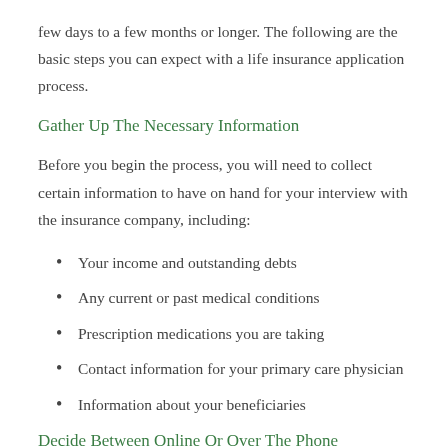few days to a few months or longer. The following are the basic steps you can expect with a life insurance application process.
Gather Up The Necessary Information
Before you begin the process, you will need to collect certain information to have on hand for your interview with the insurance company, including:
Your income and outstanding debts
Any current or past medical conditions
Prescription medications you are taking
Contact information for your primary care physician
Information about your beneficiaries
Decide Between Online Or Over The Phone